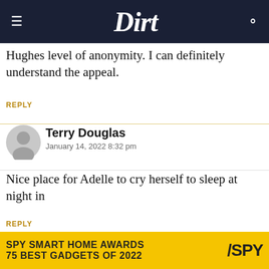Dirt
Hughes level of anonymity. I can definitely understand the appeal.
REPLY
Terry Douglas
January 14, 2022 8:32 pm
Nice place for Adelle to cry herself to sleep at night in
REPLY
NeNe_CaTiNi
[Figure (other): Advertisement banner: SPY SMART HOME AWARDS 75 BEST GADGETS OF 2022 with SPY logo on yellow background]